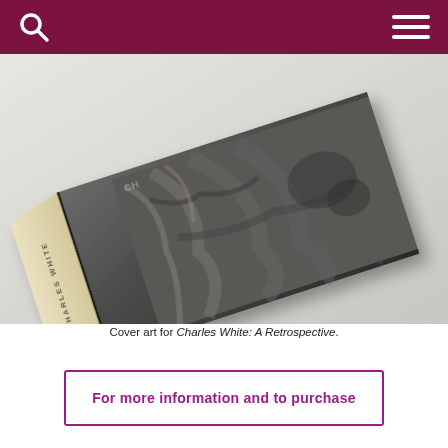[Figure (photo): A hardcover book titled 'Charles White: A Retrospective' photographed at an angle on a white background. The book cover shows a charcoal or graphite drawing of a figure in draped clothing. The book spine text reads 'CHARLES WHITE'.]
Cover art for Charles White: A Retrospective.
For more information and to purchase